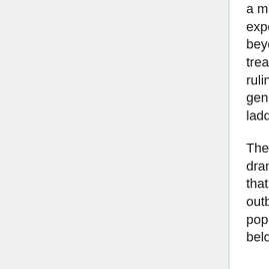a major role in raising life expectancy (or rather, "health expectancy", for these old people were in excellent health) well beyond the century, again, for those who could afford the full treatment. The idea of a fixed retirement age became passé in ruling circles, sometimes to the dismay of the younger generations whose prospects of rising to the top of the social ladder seemed indefinitely delayed.
The biotech industry actually showed its preparedness in two dramatic occasions. One was the first major bioterrorist attack that took place in Shanghai in 2026; the other was the successive outbreak of tropical diseases in southern Europe, whose population was genetically unprepared to fight germs that used to belong several thousand